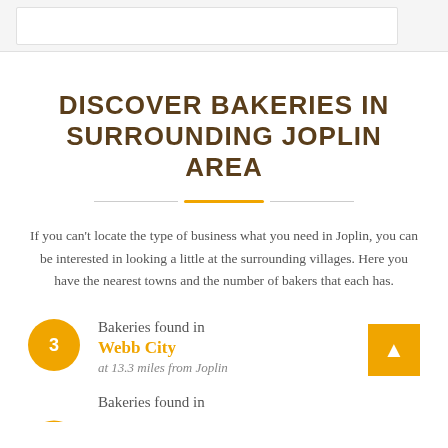DISCOVER BAKERIES IN SURROUNDING JOPLIN AREA
If you can't locate the type of business what you need in Joplin, you can be interested in looking a little at the surrounding villages. Here you have the nearest towns and the number of bakers that each has.
3 Bakeries found in Webb City at 13.3 miles from Joplin
Bakeries found in (partial)